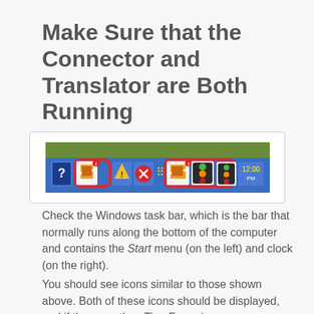Make Sure that the Connector and Translator are Both Running
[Figure (screenshot): Windows taskbar screenshot showing system tray icons including two icons highlighted with red rounded rectangles — one for the Connector and one for the Translator application icons on a blue taskbar.]
Check the Windows task bar, which is the bar that normally runs along the bottom of the computer and contains the Start menu (on the left) and clock (on the right).
You should see icons similar to those shown above.  Both of these icons should be displayed, and if they are, then TimeForge is